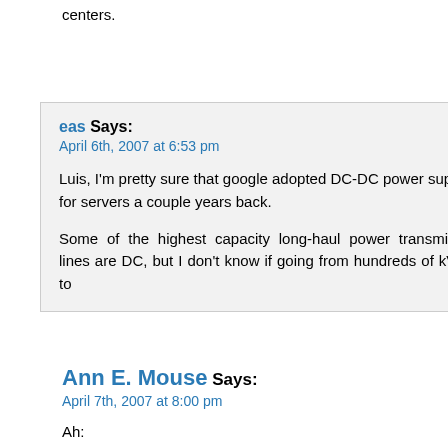centers.
eas Says:
April 6th, 2007 at 6:53 pm

Luis, I'm pretty sure that google adopted DC-DC power supplies for servers a couple years back.

Some of the highest capacity long-haul power transmission lines are DC, but I don't know if going from hundreds of kV DC to
Ann E. Mouse Says:
April 7th, 2007 at 8:00 pm

Ah: